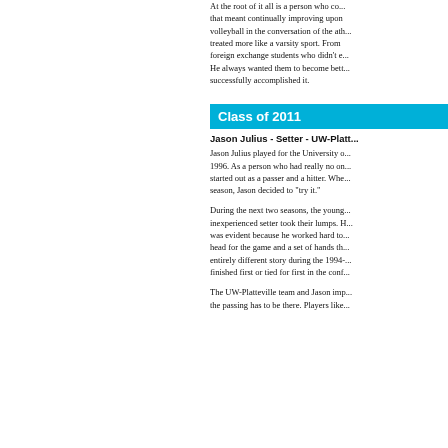At the root of it all is a person who co... that meant continually improving upon volleyball in the conversation of the ath... treated more like a varsity sport. From foreign exchange students who didn't e... He always wanted them to become bett... successfully accomplished it.
Class of 2011
Jason Julius - Setter - UW-Platt...
Jason Julius played for the University o... 1996. As a person who had really no o... started out as a passer and a hitter. Whe... season, Jason decided to "try it."
During the next two seasons, the young... inexperienced setter took their lumps. H... was evident because he worked hard to... head for the game and a set of hands th... entirely different story during the 1994-... finished first or tied for first in the conf...
The UW-Platteville team and Jason imp... the passing has to be there. Players like...